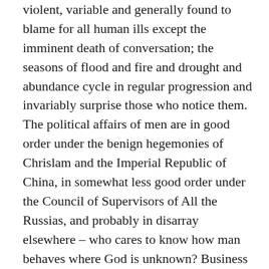violent, variable and generally found to blame for all human ills except the imminent death of conversation; the seasons of flood and fire and drought and abundance cycle in regular progression and invariably surprise those who notice them. The political affairs of men are in good order under the benign hegemonies of Chrislam and the Imperial Republic of China, in somewhat less good order under the Council of Supervisors of All the Russias, and probably in disarray elsewhere – who cares to know how man behaves where God is unknown? Business conditions are stable and auspicious in Organized Chrislam, for whose citizens it is a golden age of peace and prosperity. The plagues, migrations, wars and dislocations characteristic of the twenty-first century are long past if not forgotten, as are the disruptive popular habits and beliefs of the Millennium of Change from